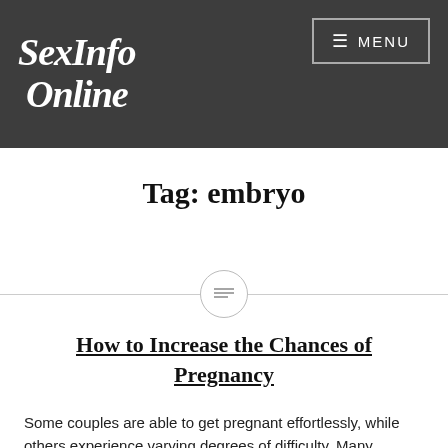SexInfo Online
Tag: embryo
[Figure (other): Horizontal divider line with a circle icon containing a text/lines symbol in the center]
How to Increase the Chances of Pregnancy
Some couples are able to get pregnant effortlessly, while others experience varying degrees of difficulty. Many